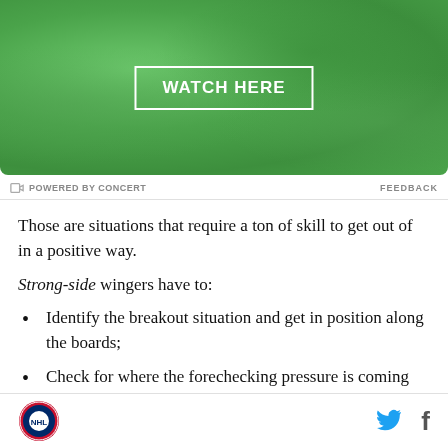[Figure (other): Green textured advertisement banner with 'WATCH HERE' button in white outlined rectangle]
POWERED BY CONCERT   FEEDBACK
Those are situations that require a ton of skill to get out of in a positive way.
Strong-side wingers have to:
Identify the breakout situation and get in position along the boards;
Check for where the forechecking pressure is coming from and where the passing options are;
Logo | Twitter | Facebook